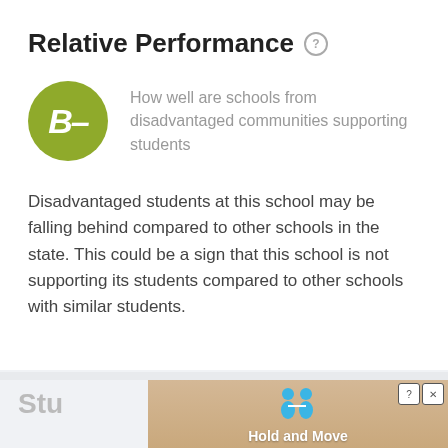Relative Performance
[Figure (other): Green circle badge with grade letter B-]
How well are schools from disadvantaged communities supporting students
Disadvantaged students at this school may be falling behind compared to other schools in the state. This could be a sign that this school is not supporting its students compared to other schools with similar students.
Stu
[Figure (other): Advertisement banner showing cartoon figures and text 'Hold and Move' with a peach/wood colored background]